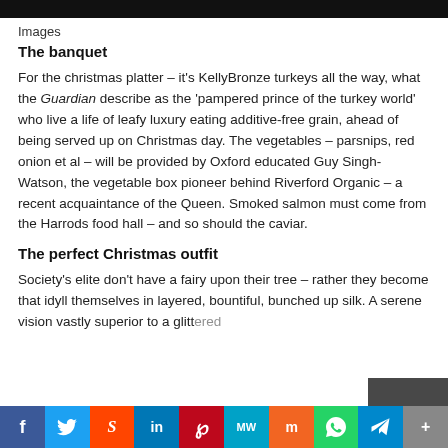Images
The banquet
For the christmas platter – it's KellyBronze turkeys all the way, what the Guardian describe as the 'pampered prince of the turkey world' who live a life of leafy luxury eating additive-free grain, ahead of being served up on Christmas day. The vegetables – parsnips, red onion et al – will be provided by Oxford educated Guy Singh-Watson, the vegetable box pioneer behind Riverford Organic – a recent acquaintance of the Queen. Smoked salmon must come from the Harrods food hall – and so should the caviar.
The perfect Christmas outfit
Society's elite don't have a fairy upon their tree – rather they become that idyll themselves in layered, bountiful, bunched up silk. A serene vision vastly superior to a glittered
f  Twitter  Reddit  in  Pinterest  MW  Mix  WhatsApp  Telegram  More